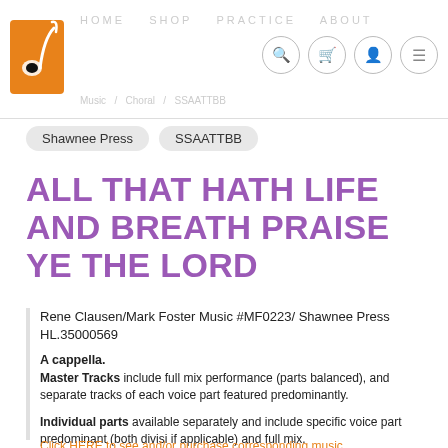Navigation bar with logo and icons
Shawnee Press  SSAATTBB
ALL THAT HATH LIFE AND BREATH PRAISE YE THE LORD
Rene Clausen/Mark Foster Music #MF0223/ Shawnee Press HL.35000569
A cappella.
Master Tracks include full mix performance (parts balanced), and separate tracks of each voice part featured predominantly.
Individual parts available separately and include specific voice part predominant (both divisi if applicable) and full mix.
Click HERE to see and/or purchase corresponding music